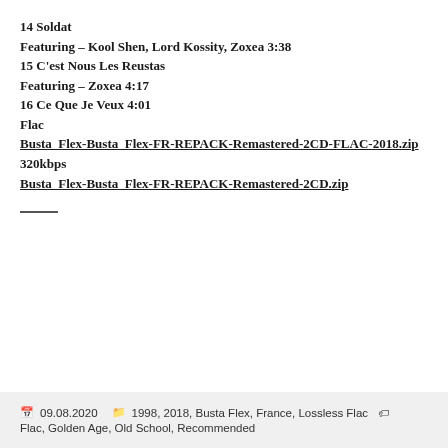14 Soldat
Featuring – Kool Shen, Lord Kossity, Zoxea 3:38
15 C'est Nous Les Reustas
Featuring – Zoxea 4:17
16 Ce Que Je Veux 4:01
Flac
Busta_Flex-Busta_Flex-FR-REPACK-Remastered-2CD-FLAC-2018.zip
320kbps
Busta_Flex-Busta_Flex-FR-REPACK-Remastered-2CD.zip
09.08.2020  1998, 2018, Busta Flex, France, Lossless Flac, Golden Age, Old School, Recommended